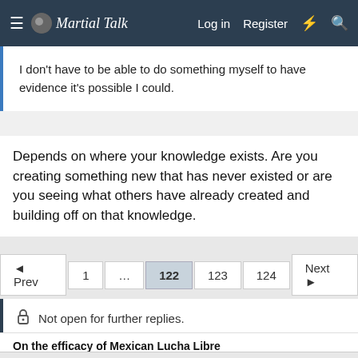Martial Talk — Log in  Register
I don't have to be able to do something myself to have evidence it's possible I could.
Depends on where your knowledge exists. Are you creating something new that has never existed or are you seeing what others have already created and building off on that knowledge.
◄ Prev  1  …  122  123  124  Next ►
Not open for further replies.
On the efficacy of Mexican Lucha Libre
Previous Thread
The importance of intent2